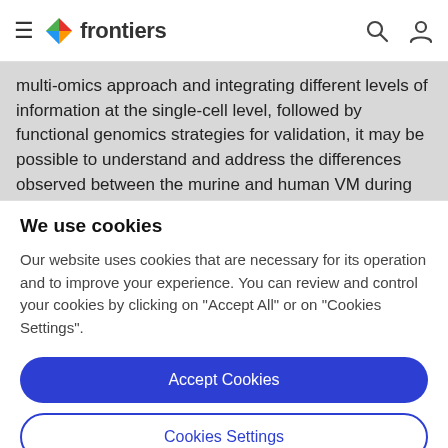frontiers
multi-omics approach and integrating different levels of information at the single-cell level, followed by functional genomics strategies for validation, it may be possible to understand and address the differences observed between the murine and human VM during development
We use cookies
Our website uses cookies that are necessary for its operation and to improve your experience. You can review and control your cookies by clicking on "Accept All" or on "Cookies Settings".
Accept Cookies
Cookies Settings